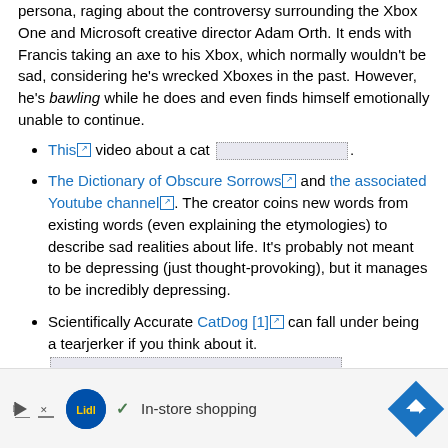persona, raging about the controversy surrounding the Xbox One and Microsoft creative director Adam Orth. It ends with Francis taking an axe to his Xbox, which normally wouldn't be sad, considering he's wrecked Xboxes in the past. However, he's bawling while he does and even finds himself emotionally unable to continue.
This [link] video about a cat [redacted].
The Dictionary of Obscure Sorrows [link] and the associated Youtube channel [link]. The creator coins new words from existing words (even explaining the etymologies) to describe sad realities about life. It's probably not meant to be depressing (just thought-provoking), but it manages to be incredibly depressing.
Scientifically Accurate CatDog [1] [link] can fall under being a tearjerker if you think about it. [redacted]
[Figure (other): Advertisement banner at bottom: Lidl logo, checkmark icon, 'In-store shopping' text, blue diamond navigation icon, and a close (x) button]